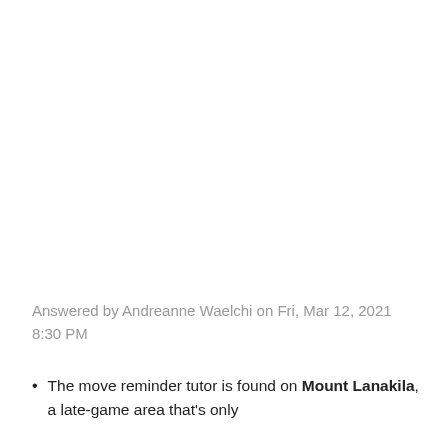Answered by Andreanne Waelchi on Fri, Mar 12, 2021 8:30 PM
The move reminder tutor is found on Mount Lanakila, a late-game area that's only